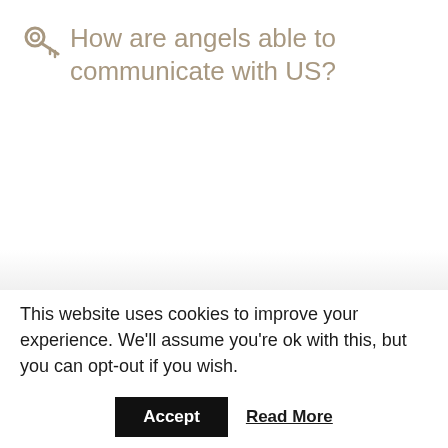How are angels able to communicate with US?
This website uses cookies to improve your experience. We'll assume you're ok with this, but you can opt-out if you wish.
Accept   Read More